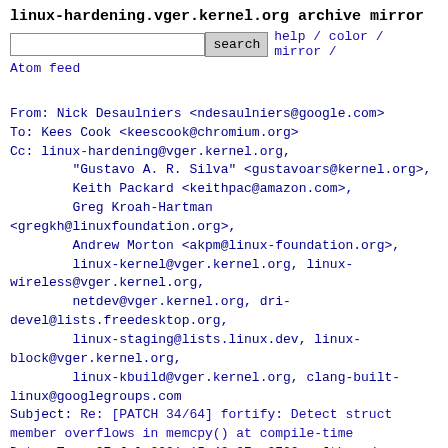linux-hardening.vger.kernel.org archive mirror
search  help / color / mirror /
Atom feed
From: Nick Desaulniers <ndesaulniers@google.com>
To: Kees Cook <keescook@chromium.org>
Cc: linux-hardening@vger.kernel.org,
        "Gustavo A. R. Silva" <gustavoars@kernel.org>,
        Keith Packard <keithpac@amazon.com>,
        Greg Kroah-Hartman
<gregkh@linuxfoundation.org>,
        Andrew Morton <akpm@linux-foundation.org>,
        linux-kernel@vger.kernel.org, linux-wireless@vger.kernel.org,
        netdev@vger.kernel.org, dri-devel@lists.freedesktop.org,
        linux-staging@lists.linux.dev, linux-block@vger.kernel.org,
        linux-kbuild@vger.kernel.org, clang-built-linux@googlegroups.com
Subject: Re: [PATCH 34/64] fortify: Detect struct member overflows in memcpy() at compile-time
Date: Tue, 27 Jul 2021 15:43:27 -0700   [thread overview]
Message-ID:
<CAKwvOdknit8DtWaFvLupmNEebjbwVa6R3xiGc2D4AqB_6+i52g@mail
(raw)
In-Reply-To: <20210727205855.411487-35-keescook@chromium.org>